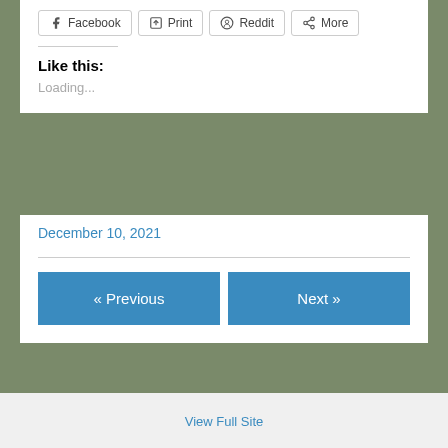[Figure (screenshot): Share buttons row: Facebook, Print, Reddit, More]
Like this:
Loading...
December 10, 2021
« Previous
Next »
View Full Site